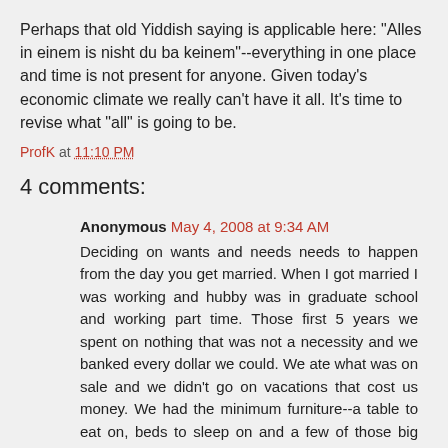Perhaps that old Yiddish saying is applicable here: "Alles in einem is nisht du ba keinem"--everything in one place and time is not present for anyone. Given today's economic climate we really can't have it all. It's time to revise what "all" is going to be.
ProfK at 11:10 PM
4 comments:
Anonymous May 4, 2008 at 9:34 AM
Deciding on wants and needs needs to happen from the day you get married. When I got married I was working and hubby was in graduate school and working part time. Those first 5 years we spent on nothing that was not a necessity and we banked every dollar we could. We ate what was on sale and we didn't go on vacations that cost us money. We had the minimum furniture--a table to eat on, beds to sleep on and a few of those big fiberboard closets to hold our things in. We had two desks we bought at a garage sale and ditto with an older couch. We bought cribs for our then 2 chldren through a university co-op. We did have a